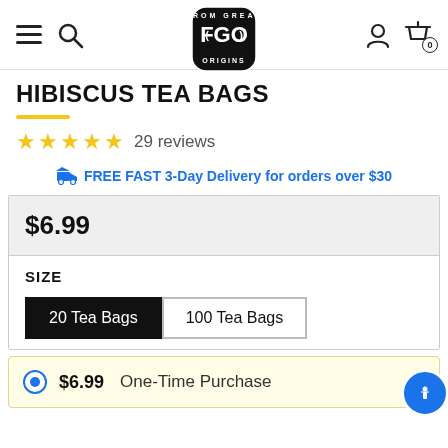FGO (From Great Origins) - navigation bar with hamburger menu, search, logo, user icon, cart icon with 0 items
HIBISCUS TEA BAGS
★★★★★ 29 reviews
FREE FAST 3-Day Delivery for orders over $30
$6.99
SIZE
20 Tea Bags
100 Tea Bags
$6.99  One-Time Purchase